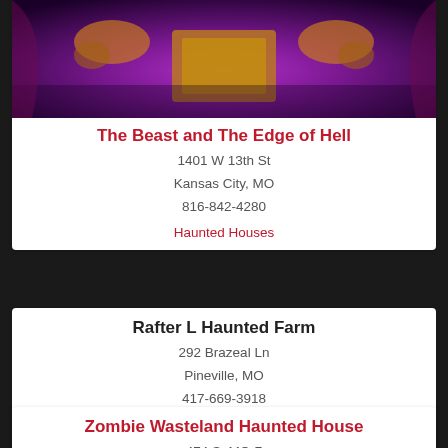[Figure (photo): Haunted house scene with purple/violet lighting, ornate gold decorations and pillars against a dark background]
The Beast and The Edge of Hell
1401 W 13th St
Kansas City, MO
816-842-4280
Haunted Houses
Rafter L Haunted Farm
292 Brazeal Ln
Pineville, MO
417-669-3918
Haunted Houses
Zombie Wasteland Haunted House
474 S, MO-7